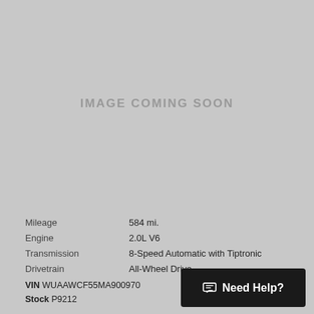[Figure (other): Gray placeholder image with text 'IMAGE COMING SOON']
Mileage    584 mi.
Engine    2.0L V6
Transmission    8-Speed Automatic with Tiptronic
Drivetrain    All-Wheel Drive
VIN WUAAWCF55MA900970
Stock P9212
Need Help?